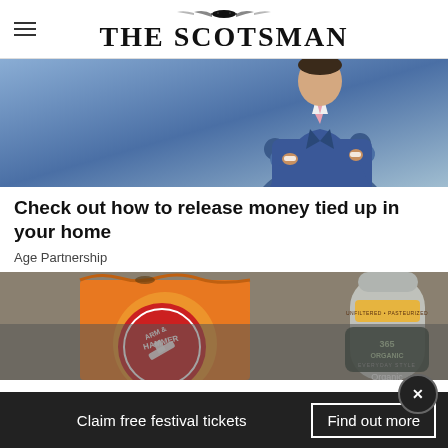THE SCOTSMAN
[Figure (photo): Person in blue suit with arms crossed against a blue background, upper body visible]
Check out how to release money tied up in your home
Age Partnership
[Figure (photo): Arm & Hammer baking soda box and a bottle of 365 Organic unfiltered/pasteurized product on a gray background]
Claim free festival tickets
Find out more